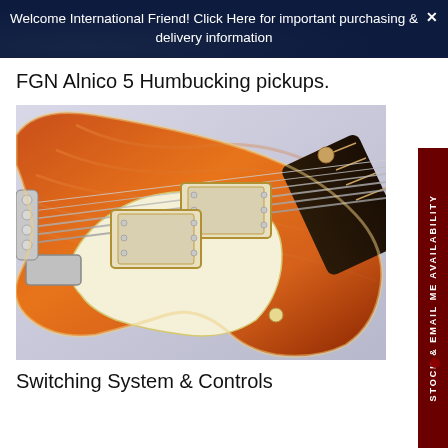Welcome International Friend! Click Here for important purchasing & delivery information
FGN Alnico 5 Humbucking pickups.
[Figure (photo): Close-up photo of an electric guitar (Les Paul style) in amber/sunburst finish with cream pickguard, two humbucking pickups, chrome tuners and bridge, and dark fretboard visible at right.]
Switching System & Controls